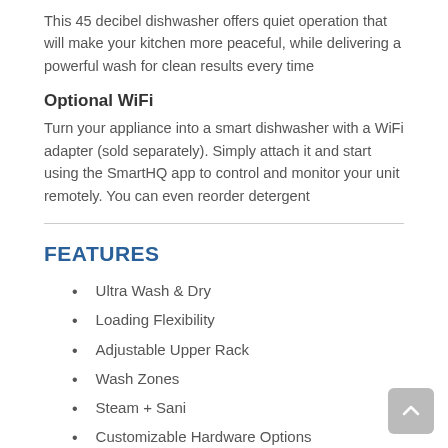This 45 decibel dishwasher offers quiet operation that will make your kitchen more peaceful, while delivering a powerful wash for clean results every time
Optional WiFi
Turn your appliance into a smart dishwasher with a WiFi adapter (sold separately). Simply attach it and start using the SmartHQ app to control and monitor your unit remotely. You can even reorder detergent
FEATURES
Ultra Wash & Dry
Loading Flexibility
Adjustable Upper Rack
Wash Zones
Steam + Sani
Customizable Hardware Options
Deep Clean Silverware Jets
Upper Rack Fold-Down Tines
Lower Rack Fold-Down Tines